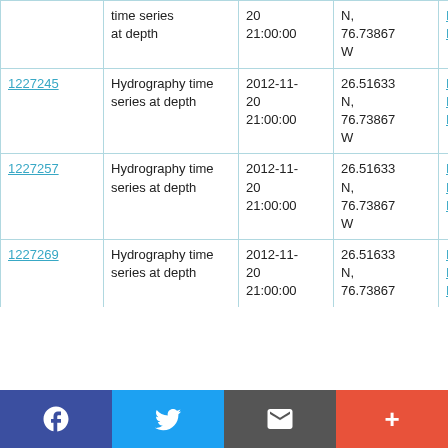| ID | Type | Date | Location | Cruise |
| --- | --- | --- | --- | --- |
|  | Hydrography time series at depth | 2012-11-20 21:00:00 | N, 76.73867 W | RRS Discovery D382 |
| 1227245 | Hydrography time series at depth | 2012-11-20 21:00:00 | 26.51633 N, 76.73867 W | RRS Discovery D382 |
| 1227257 | Hydrography time series at depth | 2012-11-20 21:00:00 | 26.51633 N, 76.73867 W | RRS Discovery D382 |
| 1227269 | Hydrography time series at depth | 2012-11-20 21:00:00 | 26.51633 N, 76.73867 W (partial) | RRS Discovery D382 (partial) |